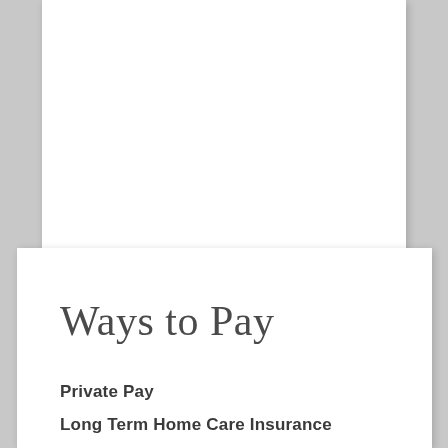Ways to Pay
Private Pay
Long Term Home Care Insurance